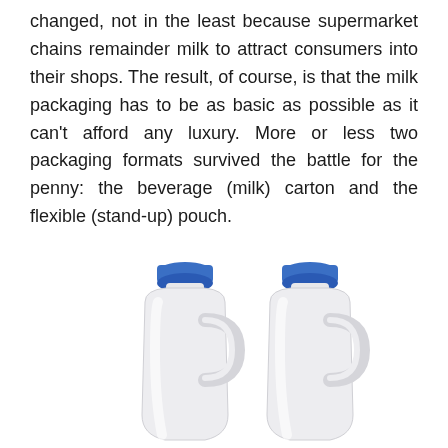changed, not in the least because supermarket chains remainder milk to attract consumers into their shops. The result, of course, is that the milk packaging has to be as basic as possible as it can't afford any luxury. More or less two packaging formats survived the battle for the penny: the beverage (milk) carton and the flexible (stand-up) pouch.
[Figure (photo): Two identical white plastic milk jugs with blue screw-top caps, side by side on a white background.]